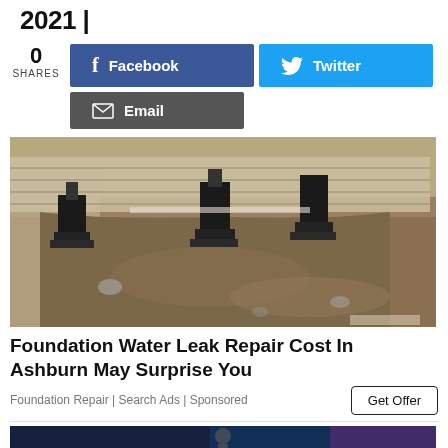2021 |
0 SHARES
Facebook
Twitter
Email
[Figure (photo): Construction/foundation repair site showing excavation with metal piers/supports along a concrete foundation wall, with dirt and rocks exposed.]
Foundation Water Leak Repair Cost In Ashburn May Surprise You
Foundation Repair | Search Ads | Sponsored
Get Offer
[Figure (photo): Partial bottom image, dark tones, partially cropped.]